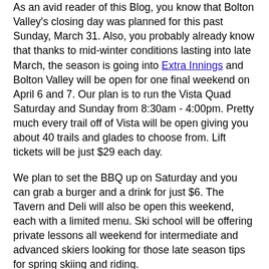As an avid reader of this Blog, you know that Bolton Valley's closing day was planned for this past Sunday, March 31. Also, you probably already know that thanks to mid-winter conditions lasting into late March, the season is going into Extra Innings and Bolton Valley will be open for one final weekend on April 6 and 7. Our plan is to run the Vista Quad Saturday and Sunday from 8:30am - 4:00pm. Pretty much every trail off of Vista will be open giving you about 40 trails and glades to choose from. Lift tickets will be just $29 each day.
We plan to set the BBQ up on Saturday and you can grab a burger and a drink for just $6. The Tavern and Deli will also be open this weekend, each with a limited menu. Ski school will be offering private lessons all weekend for intermediate and advanced skiers looking for those late season tips for spring skiing and riding.
Thanks to deep base depths we plan to have about 11km groomed for both skate and classic skiing on our Nordic terrain. The remainder of our 100km of backcountry terrain will be open for the more adventurous souls. Nordic day